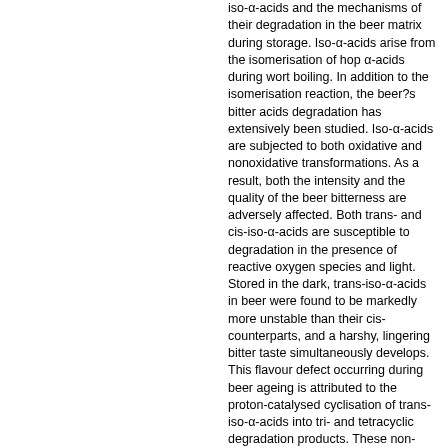iso-α-acids and the mechanisms of their degradation in the beer matrix during storage. Iso-α-acids arise from the isomerisation of hop α-acids during wort boiling. In addition to the isomerisation reaction, the beer?s bitter acids degradation has extensively been studied. Iso-α-acids are subjected to both oxidative and nonoxidative transformations. As a result, both the intensity and the quality of the beer bitterness are adversely affected. Both trans- and cis-iso-α-acids are susceptible to degradation in the presence of reactive oxygen species and light. Stored in the dark, trans-iso-α-acids in beer were found to be markedly more unstable than their cis-counterparts, and a harshy, lingering bitter taste simultaneously develops. This flavour defect occurring during beer ageing is attributed to the proton-catalysed cyclisation of trans-iso-α-acids into tri- and tetracyclic degradation products. These non-volatile degradation products of trans-iso-α-acids have only recently been identified. In contrast, only few reports deal with the formation of volatiles from iso-α acids upon